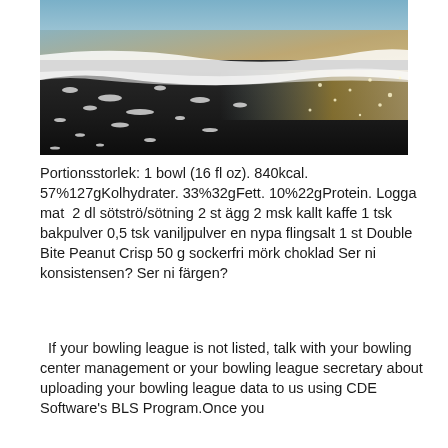[Figure (photo): Beach shoreline photo showing dark wet sand with ocean waves and foam in sunlight]
Portionsstorlek: 1 bowl (16 fl oz). 840kcal. 57%127gKolhydrater. 33%32gFett. 10%22gProtein. Logga mat  2 dl sötströ/sötning 2 st ägg 2 msk kallt kaffe 1 tsk bakpulver 0,5 tsk vaniljpulver en nypa flingsalt 1 st Double Bite Peanut Crisp 50 g sockerfri mörk choklad Ser ni konsistensen? Ser ni färgen?
If your bowling league is not listed, talk with your bowling center management or your bowling league secretary about uploading your bowling league data to us using CDE Software's BLS Program.Once you